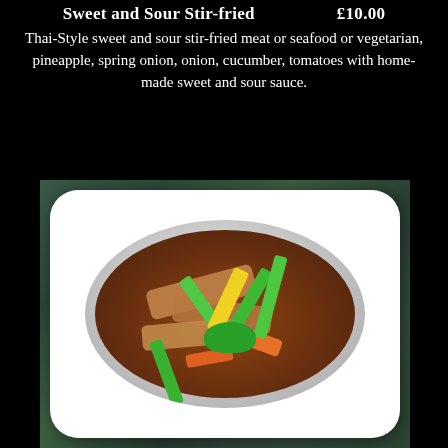Sweet and Sour Stir-fried                    £10.00
Thai-Style sweet and sour stir-fried meat or seafood or vegetarian, pineapple, spring onion, onion, cucumber, tomatoes with home-made sweet and sour sauce.
[Figure (photo): A white square plate with a rounded bowl containing Thai-style sweet and sour stir-fry with meat, carrots, green spring onions, yellow peppers, and broccoli in a brown sauce, photographed from above on a dark grey-green background.]